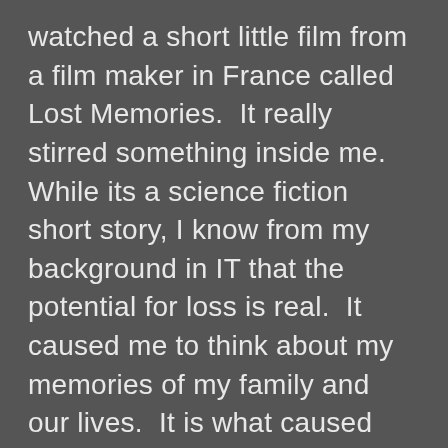watched a short little film from a film maker in France called Lost Memories.  It really stirred something inside me.  While its a science fiction short story, I know from my background in IT that the potential for loss is real.  It caused me to think about my memories of my family and our lives.  It is what caused me to shore up my backup processes but more importantly it  made me think about what if?  While not probable it is possible to have a solar flair or EM storm strong enough to take out electronic storage in all but tempest protected equipment.